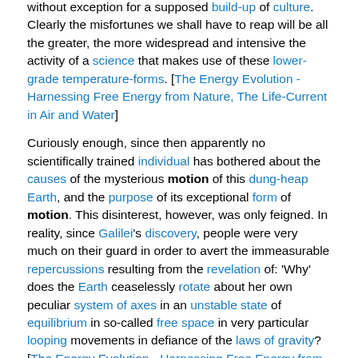without exception for a supposed build-up of culture. Clearly the misfortunes we shall have to reap will be all the greater, the more widespread and intensive the activity of a science that makes use of these lower-grade temperature-forms. [The Energy Evolution - Harnessing Free Energy from Nature, The Life-Current in Air and Water]
Curiously enough, since then apparently no scientifically trained individual has bothered about the causes of the mysterious motion of this dung-heap Earth, and the purpose of its exceptional form of motion. This disinterest, however, was only feigned. In reality, since Galilei's discovery, people were very much on their guard in order to avert the immeasurable repercussions resulting from the revelation of: 'Why' does the Earth ceaselessly rotate about her own peculiar system of axes in an unstable state of equilibrium in so-called free space in very particular looping movements in defiance of the laws of gravity? [The Energy Evolution - Harnessing Free Energy from Nature, The Life-Current in Air and Water]
trout, which, floating upwards, are able to surmount freely overfalling waterfalls several metres high, if particularly hollowed out flow-guiding stones cause the falling water to flow in 'cycloid-spiral-space-curves', the form of motion that arises and can be observed above every bunghole through which water is able to